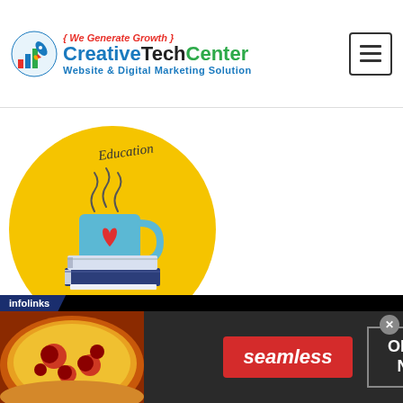[Figure (logo): CreativeTechCenter logo with rocket icon, tagline 'We Generate Growth', brand name in blue/black/green, subtitle 'Website & Digital Marketing Solution', and hamburger menu button]
[Figure (illustration): Yellow circle illustration with a blue coffee mug with red heart, steam swirls, stacked books, and cursive text 'Education']
[Figure (screenshot): Infolinks advertisement banner: dark background with pizza image on left, red 'seamless' badge in center, 'ORDER NOW' button on right, close X button top right]